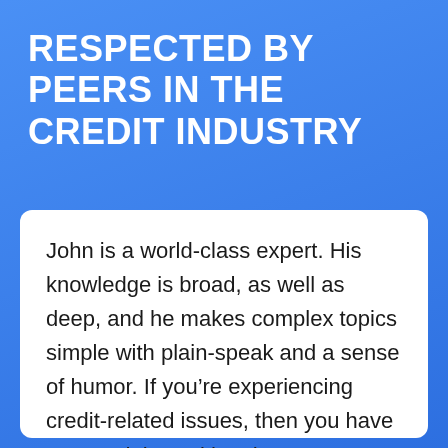RESPECTED BY PEERS IN THE CREDIT INDUSTRY
John is a world-class expert. His knowledge is broad, as well as deep, and he makes complex topics simple with plain-speak and a sense of humor. If you’re experiencing credit-related issues, then you have to spend time with John.